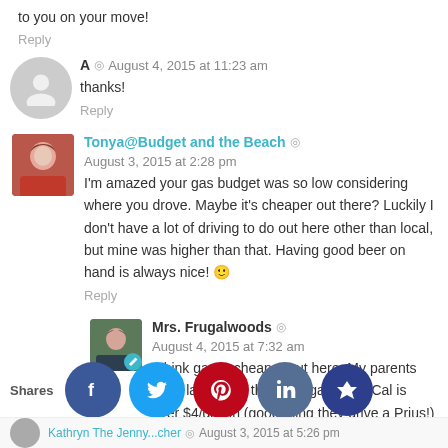to you on your move!
Reply
A  ◎  August 4, 2015 at 11:23 am  thanks!
Reply
Tonya@Budget and the Beach  ◎  August 3, 2015 at 2:28 pm  I'm amazed your gas budget was so low considering where you drove. Maybe it's cheaper out there? Luckily I don't have a lot of driving to do out here other than local, but mine was higher than that. Having good beer on hand is always nice! 🙂
Reply
Mrs. Frugalwoods  ◎  August 4, 2015 at 7:32 am  I think gas is cheaper out here. My parents were lamenting that their gas in So Cal is over $4/gallon (good thing they drive a Prius!) and ours is hovering around $2.70. So, that's a huge difference right there!
Shares
Kathryn The Jenny...cher  ◎  August 3, 2015 at 5:26 pm